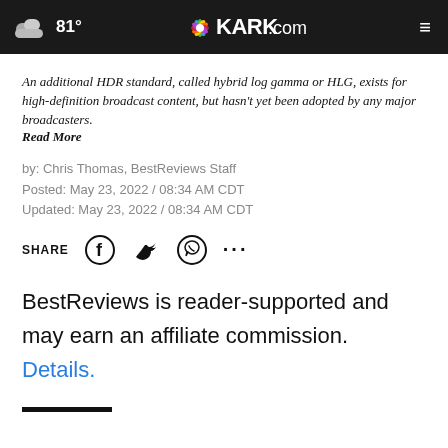81° KARK.com
An additional HDR standard, called hybrid log gamma or HLG, exists for high-definition broadcast content, but hasn't yet been adopted by any major broadcasters.
Read More
by: Chris Thomas, BestReviews Staff
Posted: May 23, 2022 / 08:34 AM CDT
Updated: May 23, 2022 / 08:34 AM CDT
SHARE
BestReviews is reader-supported and may earn an affiliate commission. Details.